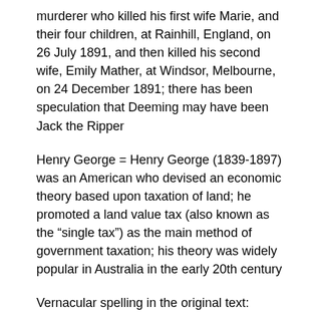murderer who killed his first wife Marie, and their four children, at Rainhill, England, on 26 July 1891, and then killed his second wife, Emily Mather, at Windsor, Melbourne, on 24 December 1891; there has been speculation that Deeming may have been Jack the Ripper
Henry George = Henry George (1839-1897) was an American who devised an economic theory based upon taxation of land; he promoted a land value tax (also known as the “single tax”) as the main method of government taxation; his theory was widely popular in Australia in the early 20th century
Vernacular spelling in the original text:
carn’t (can’t)
jist (just)